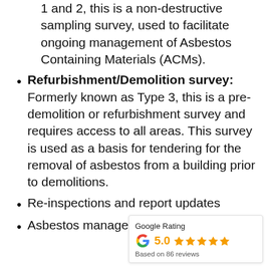1 and 2, this is a non-destructive sampling survey, used to facilitate ongoing management of Asbestos Containing Materials (ACMs).
Refurbishment/Demolition survey: Formerly known as Type 3, this is a pre-demolition or refurbishment survey and requires access to all areas. This survey is used as a basis for tendering for the removal of asbestos from a building prior to demolitions.
Re-inspections and report updates
Asbestos management plans
[Figure (infographic): Google Rating badge showing 5.0 stars based on 86 reviews with Google G logo and orange stars]